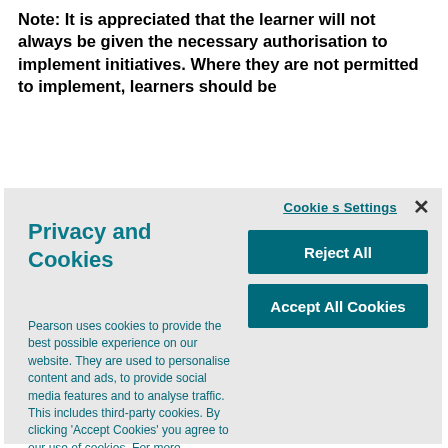Note: It is appreciated that the learner will not always be given the necessary authorisation to implement initiatives. Where they are not permitted to implement, learners should be
[Figure (screenshot): Cookie consent modal dialog with 'Privacy and Cookies' title, 'Cookies Settings' link, close X button, 'Reject All' button, 'Accept All Cookies' button, and body text about Pearson's cookie usage policy.]